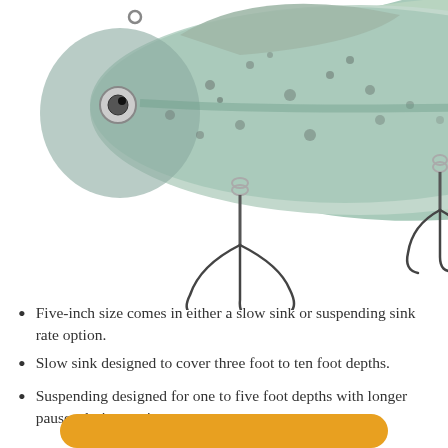[Figure (photo): A fishing lure designed to look like a crappie fish with a blue-green and yellow speckled body, two treble hooks hanging below it, on a white background.]
Five-inch size comes in either a slow sink or suspending sink rate option.
Slow sink designed to cover three foot to ten foot depths.
Suspending designed for one to five foot depths with longer pauses during retrieve.